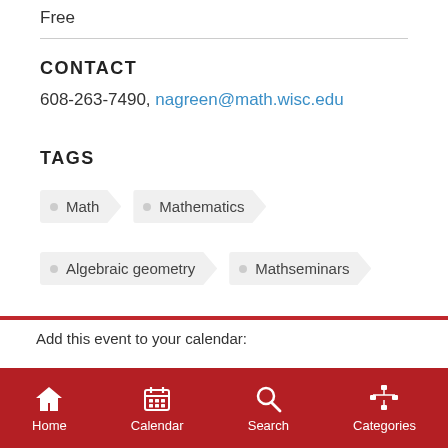Free
CONTACT
608-263-7490, nagreen@math.wisc.edu
TAGS
Math
Mathematics
Algebraic geometry
Mathseminars
Add this event to your calendar:
iCalendar
Home  Calendar  Search  Categories